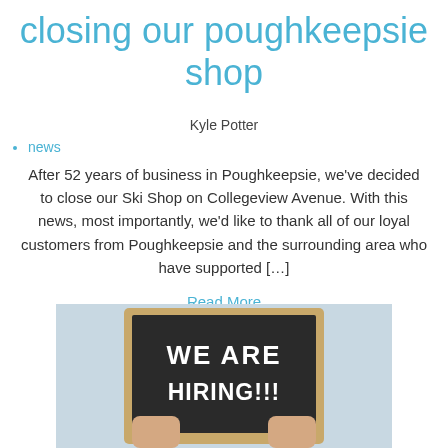closing our poughkeepsie shop
Kyle Potter
news
After 52 years of business in Poughkeepsie, we've decided to close our Ski Shop on Collegeview Avenue. With this news, most importantly, we'd like to thank all of our loyal customers from Poughkeepsie and the surrounding area who have supported […]
Read More
[Figure (photo): Person holding a chalkboard sign that reads 'WE ARE HIRING!!!']